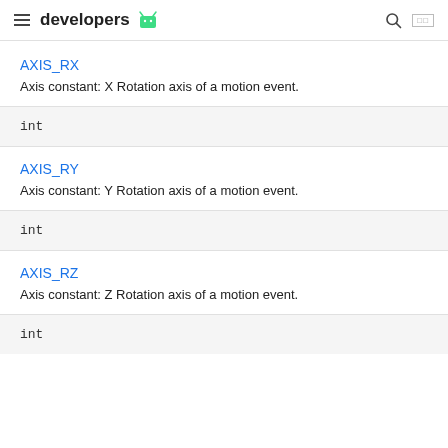developers
AXIS_RX
Axis constant: X Rotation axis of a motion event.
int
AXIS_RY
Axis constant: Y Rotation axis of a motion event.
int
AXIS_RZ
Axis constant: Z Rotation axis of a motion event.
int